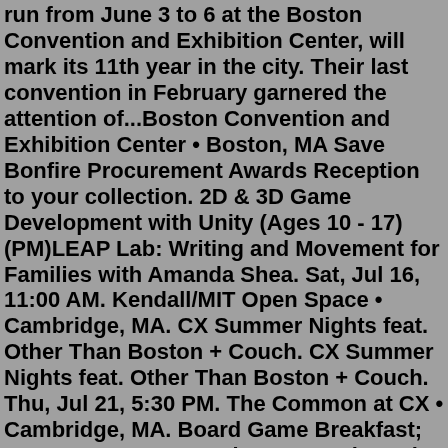run from June 3 to 6 at the Boston Convention and Exhibition Center, will mark its 11th year in the city. Their last convention in February garnered the attention of...Boston Convention and Exhibition Center • Boston, MA Save Bonfire Procurement Awards Reception to your collection. 2D & 3D Game Development with Unity (Ages 10 - 17) (PM)LEAP Lab: Writing and Movement for Families with Amanda Shea. Sat, Jul 16, 11:00 AM. Kendall/MIT Open Space • Cambridge, MA. CX Summer Nights feat. Other Than Boston + Couch. CX Summer Nights feat. Other Than Boston + Couch. Thu, Jul 21, 5:30 PM. The Common at CX • Cambridge, MA. Board Game Breakfast; Top 10's; Top 100's; Dice Tower Live; Dice Tower Enhanced; Convention Coverage; Latest Videos; Other; Board Game Top 10 & 100. All Top Tens; Top 100 Games of All Time; Top 10 - Essential Games; Top 10 - 40 Years of Gaming; Top 10 - AlphaBest; Current Top Ten List: Top 10 of All Time; VOTE: Top 10 games you are interested ...Fri, Jul 22, 6:30 PM + 3 more events. Provincetown II